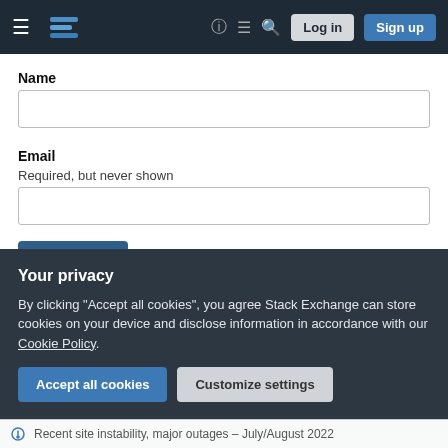Stack Exchange navigation bar with hamburger menu, logo, help, feedback, search icons, Log in and Sign up buttons
Name
Email
Required, but never shown
By clicking "Post Your Answer", you agree to our terms of service, privacy policy and cookie policy
Your privacy
By clicking "Accept all cookies", you agree Stack Exchange can store cookies on your device and disclose information in accordance with our Cookie Policy.
Recent site instability, major outages – July/August 2022